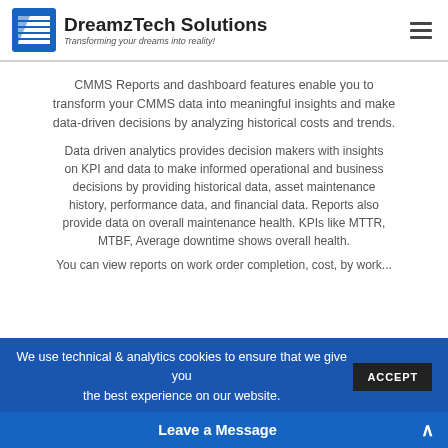DreamzTech Solutions — Transforming your dreams into reality!
CMMS Reports and dashboard features enable you to transform your CMMS data into meaningful insights and make data-driven decisions by analyzing historical costs and trends.
Data driven analytics provides decision makers with insights on KPI and data to make informed operational and business decisions by providing historical data, asset maintenance history, performance data, and financial data. Reports also provide data on overall maintenance health. KPIs like MTTR, MTBF, Average downtime shows overall health.
You can view reports on work order completion, cost, by work...
We use technical & analytics cookies to ensure that we give you the best experience on our website.
Leave a Message